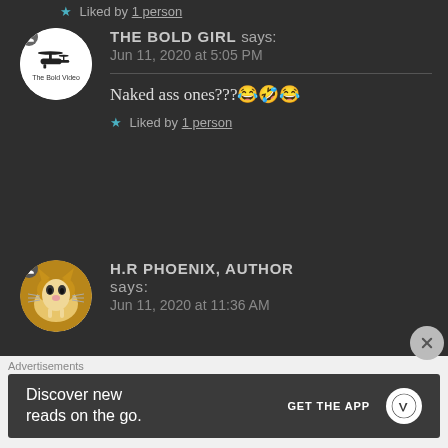★ Liked by 1 person
THE BOLD GIRL says: Jun 11, 2020 at 5:05 PM
Naked ass ones???😂🤣😂
★ Liked by 1 person
H.R PHOENIX, AUTHOR says: Jun 11, 2020 at 11:36 AM
Advertisements
Discover new reads on the go. GET THE APP